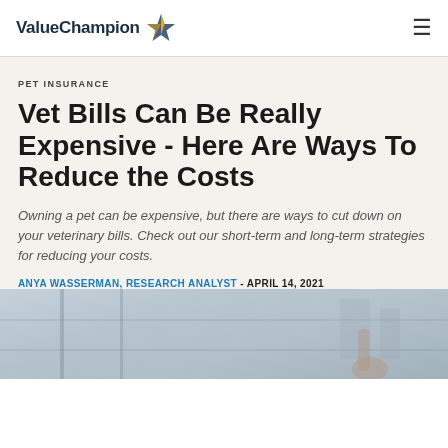ValueChampion
PET INSURANCE
Vet Bills Can Be Really Expensive - Here Are Ways To Reduce the Costs
Owning a pet can be expensive, but there are ways to cut down on your veterinary bills. Check out our short-term and long-term strategies for reducing your costs.
ANYA WASSERMAN, RESEARCH ANALYST - APRIL 14, 2021
[Figure (photo): Photo of a person near a window in a city setting]